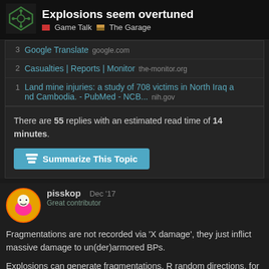Explosions seem overtuned | Game Talk | The Garage
3 Google Translate google.com
2 Casualties | Reports | Monitor the-monitor.org
1 Land mine injuries: a study of 708 victims in North Iraq and Cambodia. - PubMed - NCB... nih.gov
There are 55 replies with an estimated read time of 14 minutes.
Summarize This Topic
pisskop Dec '17
Great contributor
Fragmentations are not recorded via 'X damage', they just inflict massive damage to un(der)armored BPs.
Explosions can generate fragmentations. R random directions, for a distance. They ca
1 / 56